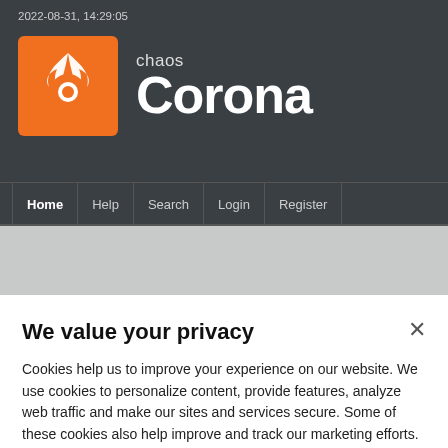2022-08-31, 14:29:05
[Figure (logo): Chaos Corona logo - orange square with white flame/ring icon, with 'chaos' and 'Corona' brand text]
Home | Help | Search | Login | Register
Please login or register.
We value your privacy
Cookies help us to improve your experience on our website. We use cookies to personalize content, provide features, analyze web traffic and make our sites and services secure. Some of these cookies also help improve and track our marketing efforts. Cookie policy
Cookie settings
Got it